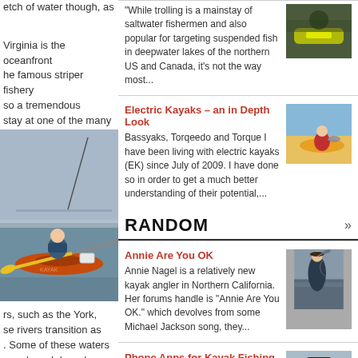etch of water though, as

Virginia is the oceanfront
he famous striper fishery
so a tremendous
stay at one of the many
[Figure (photo): Person kayak fishing on the water, holding a paddle with yellow blade, orange kayak, fishing rod visible, bridge in background]
rs, such as the York,
se rivers transition as
.  Some of these waters
are slowed down by
"While trolling is a mainstay of saltwater fishermen and also popular for targeting suspended fish in deepwater lakes of the northern US and Canada, it's not the way most...
[Figure (photo): Fishing gear/kayak equipment photo, yellow and dark colored]
Electric Kayaks – an in Depth Look
Bassyaks, Torqeedo and Torque I have been living with electric kayaks (EK) since July of 2009. I have done so in order to get a much better understanding of their potential,...
[Figure (photo): Person in red jacket on yellow kayak holding a fish, on a lake or bay]
RANDOM
Annie Are You OK
Annie Nagel is a relatively new kayak angler in Northern California. Her forums handle is "Annie Are You OK." which devolves from some Michael Jackson song, they...
[Figure (photo): Person on kayak holding up a fish with a net, near rocky shoreline]
Phone Apps for Kayak Fishing
[Figure (photo): Smartphone device photo]